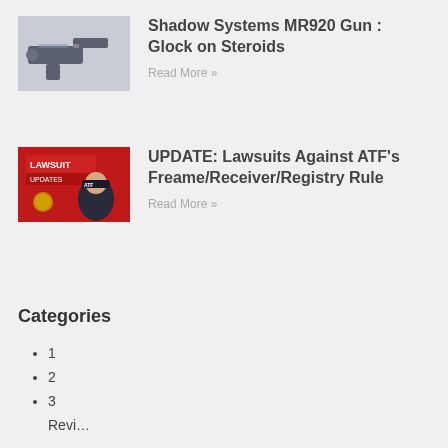[Figure (photo): Thumbnail photo of a handgun (Shadow Systems MR920) on a light background]
Shadow Systems MR920 Gun : Glock on Steroids
Read More »
[Figure (photo): Thumbnail image with red background showing 'LAWSUIT UPDATES' text and a person wearing an ATF hat]
UPDATE: Lawsuits Against ATF's Freame/Receiver/Registry Rule
Read More »
Categories
1
2
3
Revi…